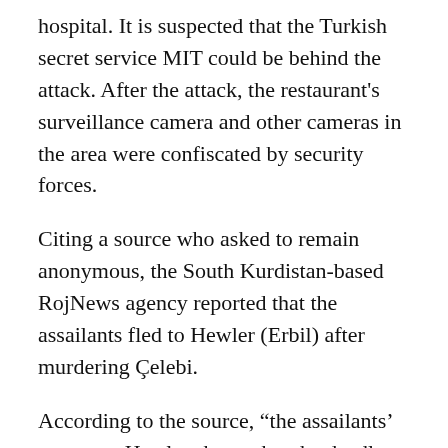hospital. It is suspected that the Turkish secret service MIT could be behind the attack. After the attack, the restaurant's surveillance camera and other cameras in the area were confiscated by security forces.
Citing a source who asked to remain anonymous, the South Kurdistan-based RojNews agency reported that the assailants fled to Hewler (Erbil) after murdering Çelebi.
According to the source, “the assailants’ escape to Hewler shows that the deadly attack was organized by Turkish intelligence service MIT and KDP intelligence service Parastin.”
The source stated that he was ready for the identification of the assailants.